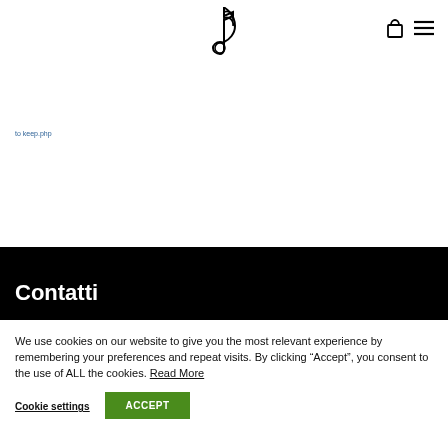[Figure (logo): Music note / treble clef logo icon in black]
[Figure (other): Shopping bag icon and hamburger menu icon in top right navigation]
to keep.php
Contatti
We use cookies on our website to give you the most relevant experience by remembering your preferences and repeat visits. By clicking “Accept”, you consent to the use of ALL the cookies. Read More
Cookie settings
ACCEPT